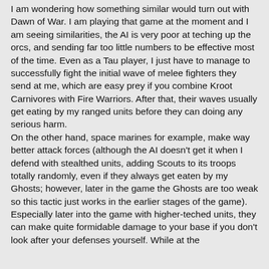I am wondering how something similar would turn out with Dawn of War. I am playing that game at the moment and I am seeing similarities, the AI is very poor at teching up the orcs, and sending far too little numbers to be effective most of the time. Even as a Tau player, I just have to manage to successfully fight the initial wave of melee fighters they send at me, which are easy prey if you combine Kroot Carnivores with Fire Warriors. After that, their waves usually get eating by my ranged units before they can doing any serious harm.
On the other hand, space marines for example, make way better attack forces (although the AI doesn't get it when I defend with stealthed units, adding Scouts to its troops totally randomly, even if they always get eaten by my Ghosts; however, later in the game the Ghosts are too weak so this tactic just works in the earlier stages of the game). Especially later into the game with higher-teched units, they can make quite formidable damage to your base if you don't look after your defenses yourself. While at the